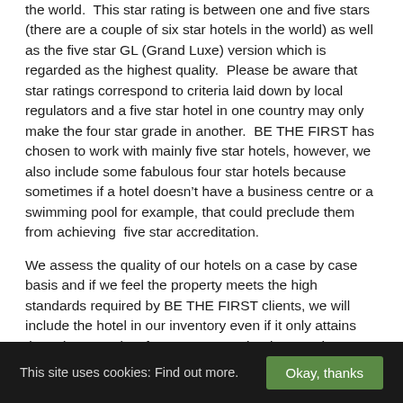the world.  This star rating is between one and five stars (there are a couple of six star hotels in the world) as well as the five star GL (Grand Luxe) version which is regarded as the highest quality.  Please be aware that star ratings correspond to criteria laid down by local regulators and a five star hotel in one country may only make the four star grade in another.  BE THE FIRST has chosen to work with mainly five star hotels, however, we also include some fabulous four star hotels because sometimes if a hotel doesn't have a business centre or a swimming pool for example, that could preclude them from achieving  five star accreditation.
We assess the quality of our hotels on a case by case basis and if we feel the property meets the high standards required by BE THE FIRST clients, we will include the hotel in our inventory even if it only attains three (very rare) or four stars.  We clearly state the star rating of each hotel on our website but we cannot
This site uses cookies: Find out more.